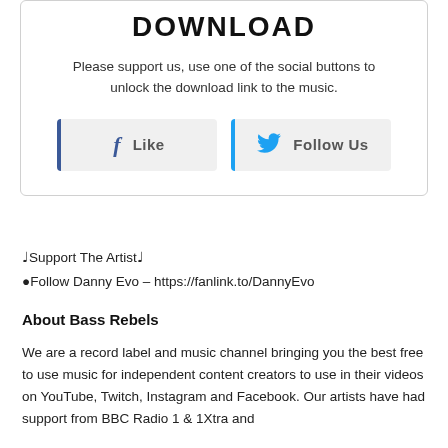DOWNLOAD
Please support us, use one of the social buttons to unlock the download link to the music.
[Figure (infographic): Two social media buttons: a Facebook 'Like' button with blue left border and Facebook 'f' icon, and a Twitter 'Follow Us' button with blue left border and Twitter bird icon.]
♩Support The Artist♩
●Follow Danny Evo – https://fanlink.to/DannyEvo
About Bass Rebels
We are a record label and music channel bringing you the best free to use music for independent content creators to use in their videos on YouTube, Twitch, Instagram and Facebook. Our artists have had support from BBC Radio 1 & 1Xtra and